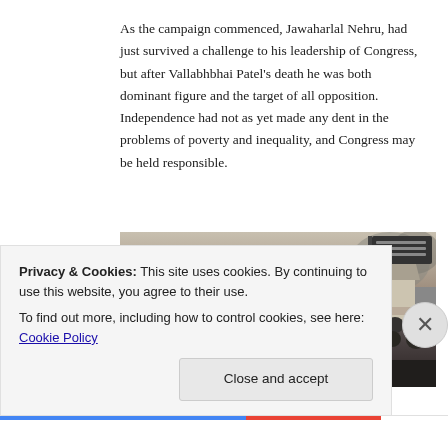As the campaign commenced, Jawaharlal Nehru, had just survived a challenge to his leadership of Congress, but after Vallabhbhai Patel's death he was both dominant figure and the target of all opposition. Independence had not as yet made any dent in the problems of poverty and inequality, and Congress may be held responsible.
[Figure (photo): Black and white historical photograph showing a large crowd of people gathered near buildings with thatched/tiled roofs. People are carrying flags and banners with text (in a regional Indian script). The scene appears to be a political rally or demonstration.]
Privacy & Cookies: This site uses cookies. By continuing to use this website, you agree to their use.
To find out more, including how to control cookies, see here: Cookie Policy
Close and accept